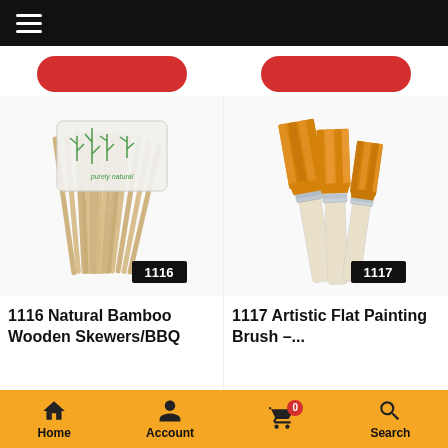Navigation bar with hamburger menu
[Figure (photo): Package of natural bamboo wooden skewers/BBQ sticks with green bamboo illustration, product ID 1116]
1116
[Figure (photo): Set of three artistic flat painting brushes with orange bristles and cream handles, product ID 1117]
1117
1116 Natural Bamboo Wooden Skewers/BBQ
1117 Artistic Flat Painting Brush –...
Home | Account | Cart (0) | Search